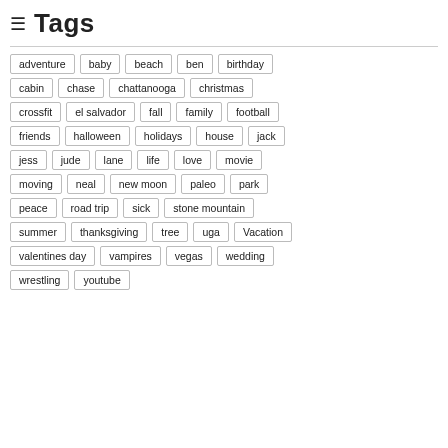≡ Tags
adventure
baby
beach
ben
birthday
cabin
chase
chattanooga
christmas
crossfit
el salvador
fall
family
football
friends
halloween
holidays
house
jack
jess
jude
lane
life
love
movie
moving
neal
new moon
paleo
park
peace
road trip
sick
stone mountain
summer
thanksgiving
tree
uga
Vacation
valentines day
vampires
vegas
wedding
wrestling
youtube